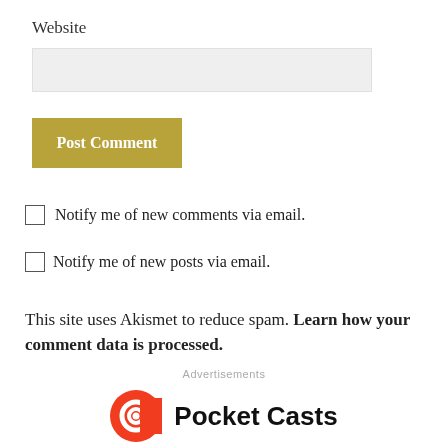Website
Post Comment
Notify me of new comments via email.
Notify me of new posts via email.
This site uses Akismet to reduce spam. Learn how your comment data is processed.
Advertisements
[Figure (logo): Pocket Casts logo with red circular icon and bold text 'Pocket Casts']